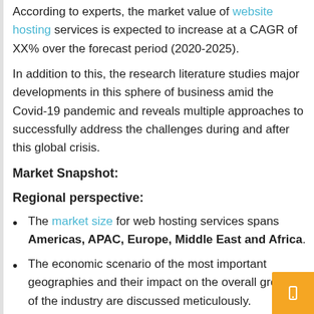According to experts, the market value of website hosting services is expected to increase at a CAGR of XX% over the forecast period (2020-2025).
In addition to this, the research literature studies major developments in this sphere of business amid the Covid-19 pandemic and reveals multiple approaches to successfully address the challenges during and after this global crisis.
Market Snapshot:
Regional perspective:
The market size for web hosting services spans Americas, APAC, Europe, Middle East and Africa.
The economic scenario of the most important geographies and their impact on the overall growth of the industry are discussed meticulously.
The market share and consumption growth rate for each region during the forecast period is validated with statistical data.